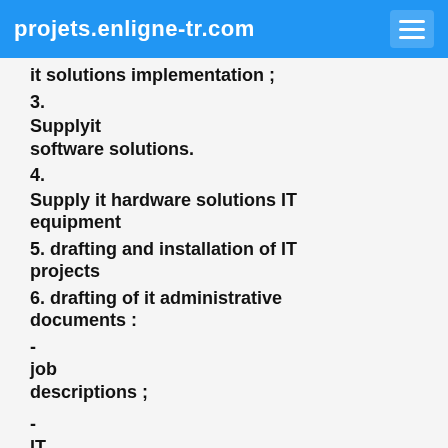projets.enligne-tr.com
it solutions implementation ;
3.
Supplyit software solutions.
4.
Supply it hardware solutions IT equipment
5. drafting and installation of IT projects
6. drafting of it administrative documents :
- job descriptions ;
- IT